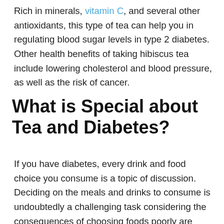Rich in minerals, vitamin C, and several other antioxidants, this type of tea can help you in regulating blood sugar levels in type 2 diabetes. Other health benefits of taking hibiscus tea include lowering cholesterol and blood pressure, as well as the risk of cancer.
What is Special about Tea and Diabetes?
If you have diabetes, every drink and food choice you consume is a topic of discussion. Deciding on the meals and drinks to consume is undoubtedly a challenging task considering the consequences of choosing foods poorly are more severe than what an individual who's diabetic-free might face. Besides, it is evident that drink and meal choices are typically one of the most empowering, and most straightforward... for diabetics...